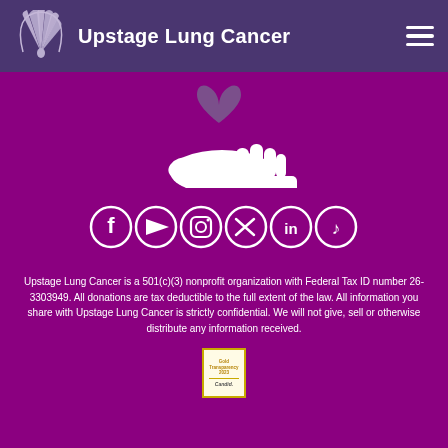Upstage Lung Cancer
[Figure (illustration): White hand holding a purple heart icon on a magenta/purple background]
[Figure (illustration): Social media icons row: Facebook, YouTube, Instagram, Twitter, LinkedIn, TikTok — white icons on purple background]
Upstage Lung Cancer is a 501(c)(3) nonprofit organization with Federal Tax ID number 26-3303949. All donations are tax deductible to the full extent of the law. All information you share with Upstage Lung Cancer is strictly confidential. We will not give, sell or otherwise distribute any information received.
[Figure (logo): Candid Gold Transparency 2023 badge]